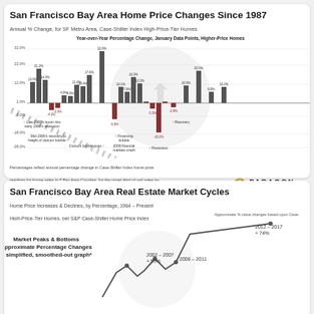San Francisco Bay Area Home Price Changes Since 1987
Annual % Change, for SF Metro Area, Case-Shiller Index High-Price-Tier Homes
[Figure (bar-chart): Year-over-Year Percentage Change, January Data Points, Higher-Price Homes]
Percentages reflect annual percentage change in Case-Shiller Index home price readings for house sales in 5 Bay Area Counties, for the upper third of unit sales by price range, from January to January. Data from sources deemed reliable but may contain errors and subject to revision.
San Francisco Bay Area Real Estate Market Cycles
Home Price Increases & Declines, by Percentage, 1984 – Present
High-Price-Tier Homes, per S&P Case-Shiller Home Price Index
Approximate % value changes based upon Case-Shiller High-Tier Home Price Index for 5-county metro area.
[Figure (line-chart): Smoothed line chart showing SF Bay Area real estate market cycles with labeled peaks and troughs: 2002-2007 +59%, 2008-2011 (decline), 2012-2017 +74%]